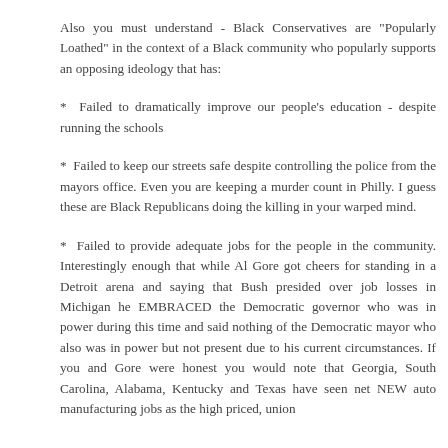Also you must understand - Black Conservatives are "Popularly Loathed" in the context of a Black community who popularly supports an opposing ideology that has:
* Failed to dramatically improve our people's education - despite running the schools
* Failed to keep our streets safe despite controlling the police from the mayors office. Even you are keeping a murder count in Philly. I guess these are Black Republicans doing the killing in your warped mind.
* Failed to provide adequate jobs for the people in the community. Interestingly enough that while Al Gore got cheers for standing in a Detroit arena and saying that Bush presided over job losses in Michigan he EMBRACED the Democratic governor who was in power during this time and said nothing of the Democratic mayor who also was in power but not present due to his current circumstances. If you and Gore were honest you would note that Georgia, South Carolina, Alabama, Kentucky and Texas have seen net NEW auto manufacturing jobs as the high priced, union